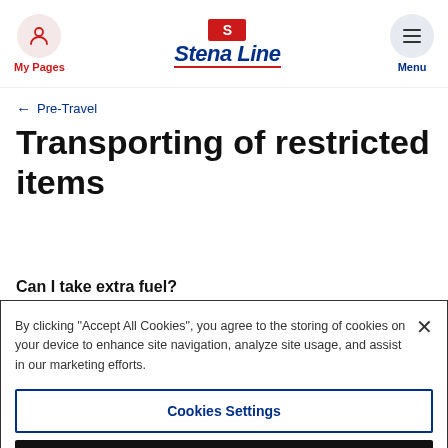My Pages | Stena Line | Menu
← Pre-Travel
Transporting of restricted items
Can I take extra fuel?
By clicking "Accept All Cookies", you agree to the storing of cookies on your device to enhance site navigation, analyze site usage, and assist in our marketing efforts.
Cookies Settings
Reject All